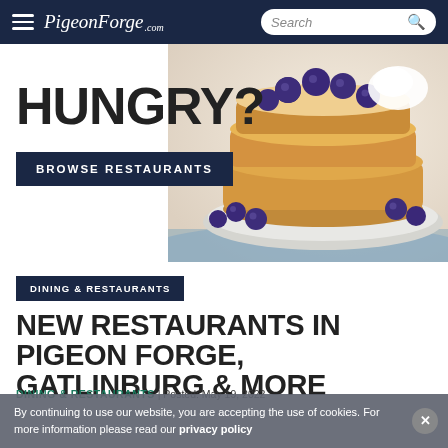PigeonForge.com — navigation bar with hamburger menu and search
[Figure (photo): Stack of blueberry pancakes with powdered sugar on a plate with blueberries, with 'HUNGRY?' text and 'BROWSE RESTAURANTS' button overlaid on a white background]
DINING & RESTAURANTS
NEW RESTAURANTS IN PIGEON FORGE, GATLINBURG & MORE
By continuing to use our website, you are accepting the use of cookies. For more information please read our privacy policy
DINING & RESTAURANTS | Posted: May 19, 2022